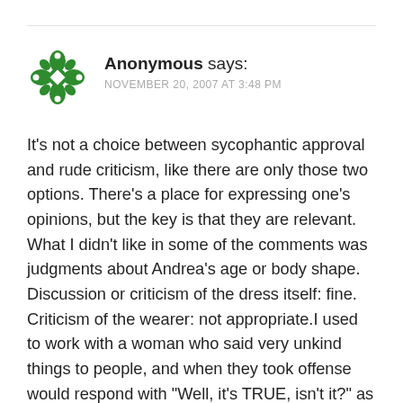[Figure (illustration): Green decorative avatar icon with a cross/snowflake pattern]
Anonymous says:
NOVEMBER 20, 2007 AT 3:48 PM
It's not a choice between sycophantic approval and rude criticism, like there are only those two options. There's a place for expressing one's opinions, but the key is that they are relevant. What I didn't like in some of the comments was judgments about Andrea's age or body shape. Discussion or criticism of the dress itself: fine. Criticism of the wearer: not appropriate.I used to work with a woman who said very unkind things to people, and when they took offense would respond with "Well, it's TRUE, isn't it?" as though she had the inside track on what truth is. What she was expressing were her OPINIONS, and none of them were earth-shattering enough to make